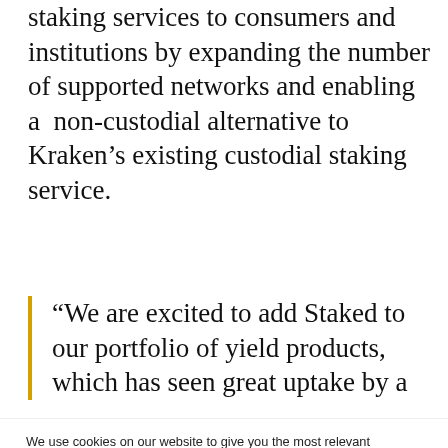staking services to consumers and institutions by expanding the number of supported networks and enabling a  non-custodial alternative to Kraken's existing custodial staking service.
“We are excited to add Staked to our portfolio of yield products, which has seen great uptake by a
We use cookies on our website to give you the most relevant experience by remembering your preferences and repeat visits. By clicking “Accept All”, you consent to the use of ALL the cookies. However, you may visit "Cookie Settings" to provide a controlled consent.
Cookie Settings | Accept All
Read our Cookie Statement